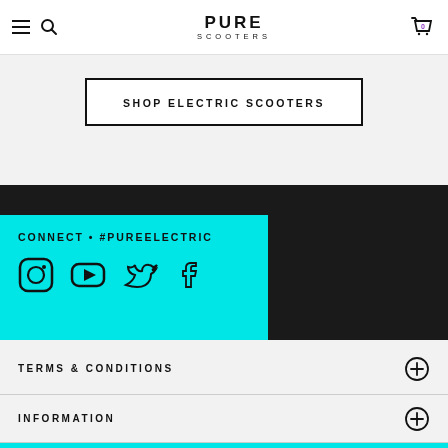PURE SCOOTERS
SHOP ELECTRIC SCOOTERS
CONNECT • #PUREELECTRIC
TERMS & CONDITIONS
INFORMATION